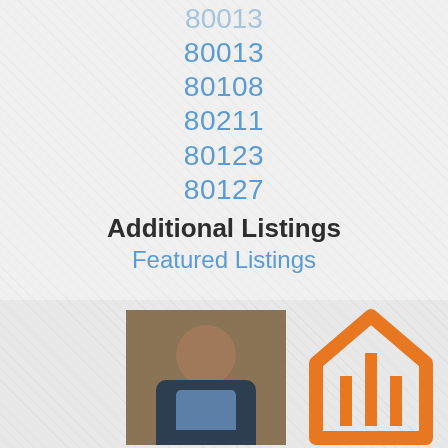80013
80108
80211
80123
80127
Additional Listings
Featured Listings
[Figure (photo): Headshot of a man with dark hair and goatee wearing a dark suit jacket and blue shirt]
[Figure (logo): Orange house/home logo with stylized 'M' or arrow design inside roof outline]